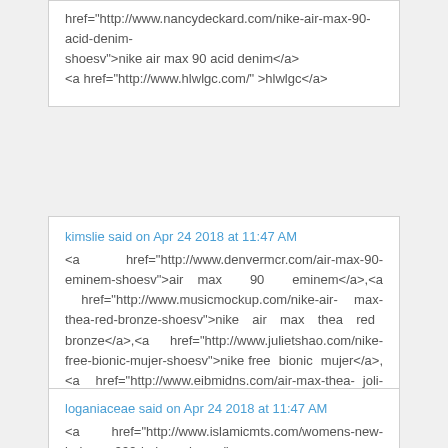href="http://www.nancydeckard.com/nike-air-max-90-acid-denim-shoesv">nike air max 90 acid denim</a> <a href="http://www.hlwlgc.com/" >hlwlgc</a>
kimslie said on Apr 24 2018 at 11:47 AM
<a href="http://www.denvermcr.com/air-max-90-eminem-shoesv">air max 90 eminem</a>,<a href="http://www.musicmockup.com/nike-air-max-thea-red-bronze-shoesv">nike air max thea red bronze</a>,<a href="http://www.julietshao.com/nike-free-bionic-mujer-shoesv">nike free bionic mujer</a>,<a href="http://www.eibmidns.com/air-max-thea-joli-oro-shoesv">air max thea joli oro</a>,<a href="http://www.maconhare.com/air-max-95-2010-release-shoesv">air max 95 2010 release</a>,<a href="http://www.fansoftech.com/nike-blazer-high-pearl-white-black-shoesv">nike blazer high pearl white black</a> <a href="http://www.kimslie.com/" >kimslie</a>
loganiaceae said on Apr 24 2018 at 11:47 AM
<a href="http://www.islamicmts.com/womens-new-balance-999-beige-shoesv">womens new balance 999 beige</a>,<a href="http://www.menduibal.com/le-coq-sportif-svart-grønn-shoesv">le